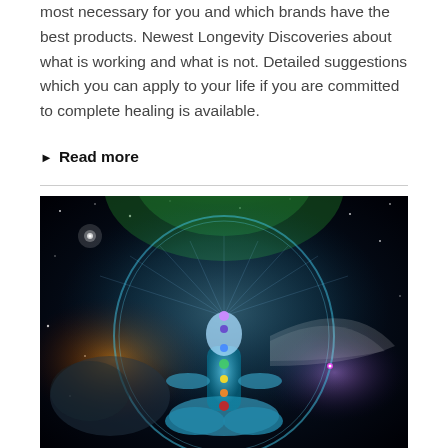most necessary for you and which brands have the best products. Newest Longevity Discoveries about what is working and what is not. Detailed suggestions which you can apply to your life if you are committed to complete healing is available.
Read more
[Figure (illustration): Spiritual/cosmic illustration of a meditating figure with chakra energy centers shown in rainbow colors, surrounded by a glowing aura bubble, with a green tree-of-life background and a starry cosmic space backdrop.]